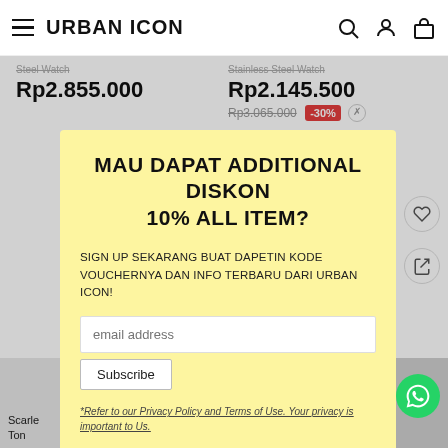URBAN ICON
Rp2.855.000
Rp2.145.500 Rp3.065.000 -30%
MAU DAPAT ADDITIONAL DISKON 10% ALL ITEM?
SIGN UP SEKARANG BUAT DAPETIN KODE VOUCHERNYA DAN INFO TERBARU DARI URBAN ICON!
email address
Subscribe
*Refer to our Privacy Policy and Terms of Use. Your privacy is important to Us.
Scarle... Ton...
d-Tone 1